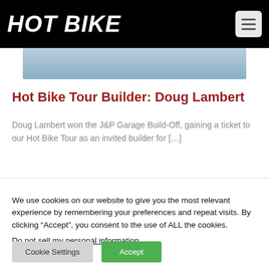HOT BIKE
[Figure (photo): Partial photo strip of a motorcycle or related image, partially visible at top of article]
Hot Bike Tour Builder: Doug Lambert
Doug Lambert won the J&P Garage Build-Off, gaining a ticket to our Hot Bike Tour as an invited builder for […]
We use cookies on our website to give you the most relevant experience by remembering your preferences and repeat visits. By clicking “Accept”, you consent to the use of ALL the cookies.
Do not sell my personal information.